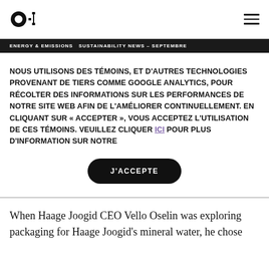O-I logo and navigation
ENERGY & EMISSIONS  SUSTAINABILITY NEWS – SEPTEMBRE
NOUS UTILISONS DES TÉMOINS, ET D'AUTRES TECHNOLOGIES PROVENANT DE TIERS COMME GOOGLE ANALYTICS, POUR RÉCOLTER DES INFORMATIONS SUR LES PERFORMANCES DE NOTRE SITE WEB AFIN DE L'AMÉLIORER CONTINUELLEMENT. EN CLIQUANT SUR « ACCEPTER », VOUS ACCEPTEZ L'UTILISATION DE CES TÉMOINS. VEUILLEZ CLIQUER ICI POUR PLUS D'INFORMATION SUR NOTRE
J'ACCEPTE
When Haage Joogid CEO Vello Oselin was exploring packaging for Haage Joogid's mineral water, he chose